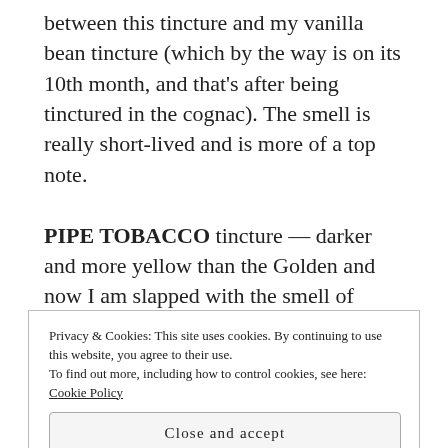between this tincture and my vanilla bean tincture (which by the way is on its 10th month, and that's after being tinctured in the cognac). The smell is really short-lived and is more of a top note.
PIPE TOBACCO tincture — darker and more yellow than the Golden and now I am slapped with the smell of vanilla! Jee-pers! Very raisiny, this almost reminds me of brandy or cognac not tobacco. It's sweetness is overwhelming. Raisin-like, so much so you don't even realize you're smelling tobacco. The impression is almost wet, Golden Virginia is drier,
Privacy & Cookies: This site uses cookies. By continuing to use this website, you agree to their use.
To find out more, including how to control cookies, see here: Cookie Policy
Close and accept
remember Cogolin. A tiny town in Provence that is